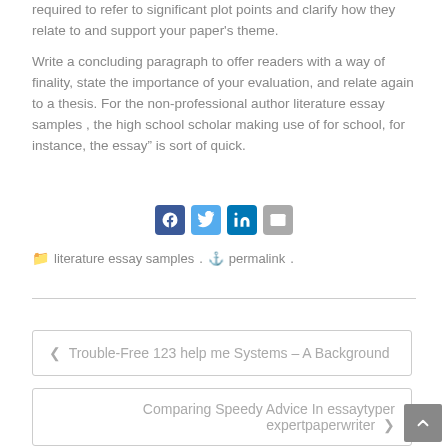required to refer to significant plot points and clarify how they relate to and support your paper's theme.
Write a concluding paragraph to offer readers with a way of finality, state the importance of your evaluation, and relate again to a thesis. For the non-professional author literature essay samples , the high school scholar making use of for school, for instance, the essay” is sort of quick.
[Figure (infographic): Social sharing icons: Facebook, Twitter, LinkedIn, Email]
literature essay samples. permalink.
❮ Trouble-Free 123 help me Systems – A Background
Comparing Speedy Advice In essaytyper expertpaperwriter ❯